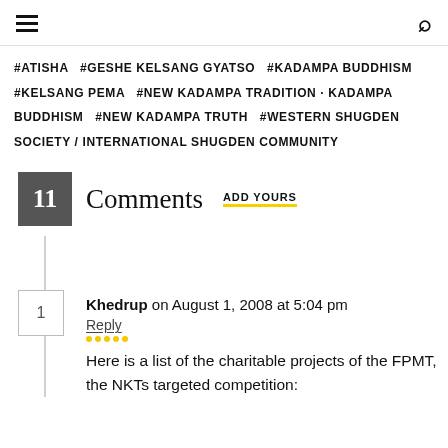≡  🔍
#ATISHA  #GESHE KELSANG GYATSO  #KADAMPA BUDDHISM  #KELSANG PEMA  #NEW KADAMPA TRADITION · KADAMPA BUDDHISM  #NEW KADAMPA TRUTH  #WESTERN SHUGDEN SOCIETY / INTERNATIONAL SHUGDEN COMMUNITY
11 Comments  ADD YOURS
Khedrup on August 1, 2008 at 5:04 pm
Reply
Here is a list of the charitable projects of the FPMT, the NKTs targeted competition: